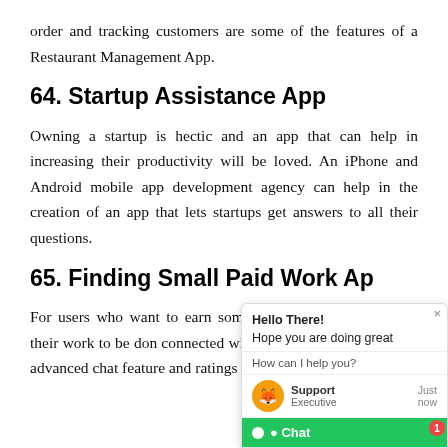order and tracking customers are some of the features of a Restaurant Management App.
64. Startup Assistance App
Owning a startup is hectic and an app that can help in increasing their productivity will be loved. An iPhone and Android mobile app development agency can help in the creation of an app that lets startups get answers to all their questions.
65. Finding Small Paid Work Ap
For users who want to earn some quic and users who wish their work to be connected with the help of this mobile ap advanced chat feature and ratings can be added